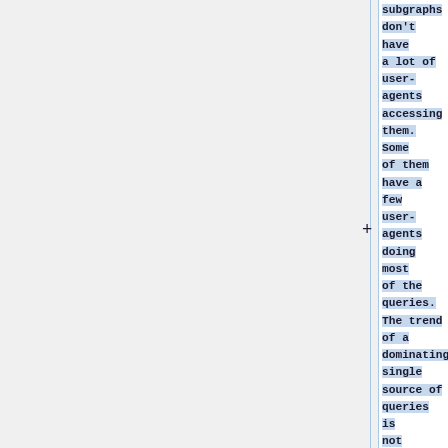subgraphs don't have a lot of user-agents accessing them. Some of them have a few user-agents doing most of the queries. The trend of a dominating single source of queries is not widespread among subgraphs.